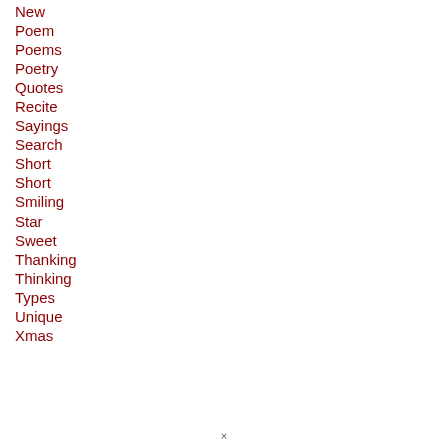New
Poem
Poems
Poetry
Quotes
Recite
Sayings
Search
Short
Short
Smiling
Star
Sweet
Thanking
Thinking
Types
Unique
Xmas
×